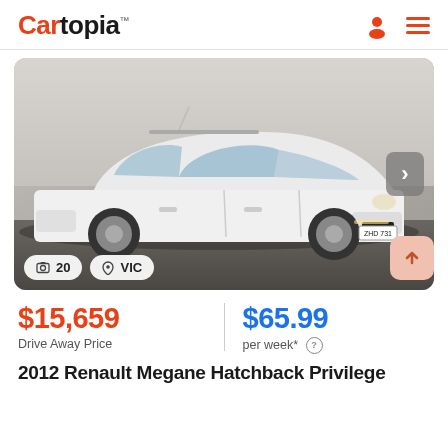Cartopia
[Figure (photo): White Renault Megane Hatchback parked, side-front view, license plate ZHD 731. Photo shows 20 images badge and VIC location badge overlaid at bottom left.]
$15,659 Drive Away Price | $65.99 per week*
2012 Renault Megane Hatchback Privilege